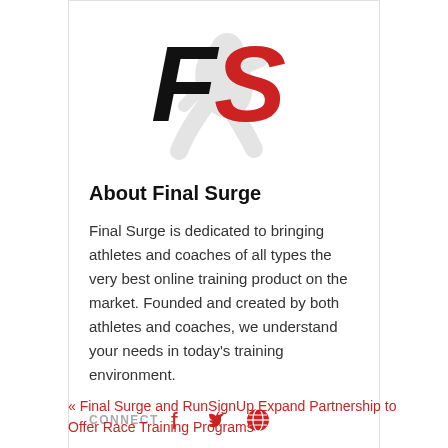[Figure (logo): Final Surge logo — stylized FS letters with a running figure, black and red]
About Final Surge
Final Surge is dedicated to bringing athletes and coaches of all types the very best online training product on the market. Founded and created by both athletes and coaches, we understand your needs in today's training environment.
CONNECT [Facebook] [Twitter] [Globe/Website]
« Final Surge and RunSignUp Expand Partnership to Offer Race Training Programs